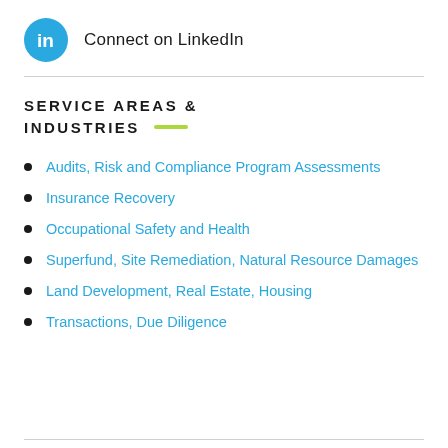[Figure (logo): LinkedIn circular blue icon with 'in' in white text, followed by 'Connect on LinkedIn' text]
SERVICE AREAS & INDUSTRIES
Audits, Risk and Compliance Program Assessments
Insurance Recovery
Occupational Safety and Health
Superfund, Site Remediation, Natural Resource Damages
Land Development, Real Estate, Housing
Transactions, Due Diligence